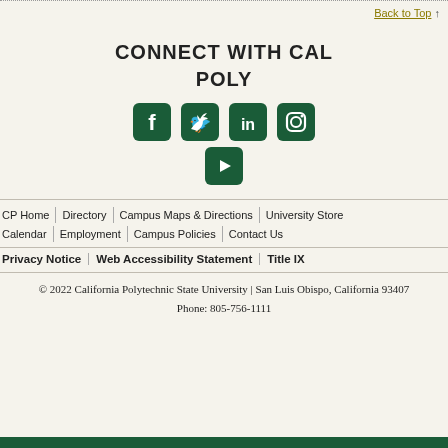Back to Top ↑
CONNECT WITH CAL POLY
[Figure (illustration): Five social media icons for Facebook, Twitter, LinkedIn, Instagram, and YouTube, all in dark green rounded square buttons]
CP Home | Directory | Campus Maps & Directions | University Store | Calendar | Employment | Campus Policies | Contact Us
Privacy Notice | Web Accessibility Statement | Title IX
© 2022 California Polytechnic State University | San Luis Obispo, California 93407 Phone: 805-756-1111